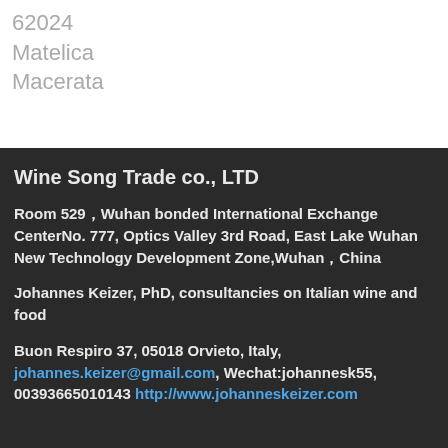62024
Matelica
Macerata
Wine Song Trade co., LTD
Room 529，Wuhan bonded International Exchange CenterNo. 777, Optics Valley 3rd Road, East Lake Wuhan New Technology Development Zone,Wuhan，China
Johannes Keizer, PhD,  consultancies on Italian wine and food
Buon Respiro 37, 05018 Orvieto, Italy, johannes.keizer@gmail.com, Wechat:johannesk55, 0039366501014‌3 http://www.johanneskeizer.com